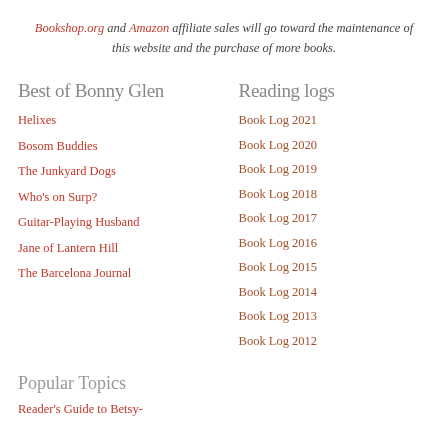Bookshop.org and Amazon affiliate sales will go toward the maintenance of this website and the purchase of more books.
Best of Bonny Glen
Helixes
Bosom Buddies
The Junkyard Dogs
Who's on Surp?
Guitar-Playing Husband
Jane of Lantern Hill
The Barcelona Journal
Reading logs
Book Log 2021
Book Log 2020
Book Log 2019
Book Log 2018
Book Log 2017
Book Log 2016
Book Log 2015
Book Log 2014
Book Log 2013
Book Log 2012
Popular Topics
Reader's Guide to Betsy-